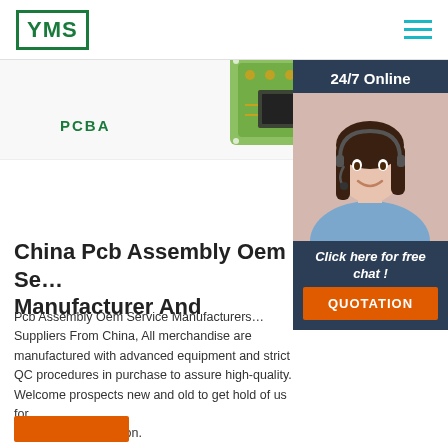[Figure (logo): YMS logo in green border box with green bold letters]
[Figure (photo): PCB circuit board graphic in top strip area]
[Figure (photo): Customer service agent woman with headset smiling, 24/7 Online badge, dark blue panel with chat CTA and orange QUOTATION button]
PCBA
China Pcb Assembly Oem Se… Manufacturer And
Pcb Assembly Oem Service Manufacturers… Suppliers From China, All merchandise are manufactured with advanced equipment and strict QC procedures in purchase to assure high-quality. Welcome prospects new and old to get hold of us for enterprise cooperation.